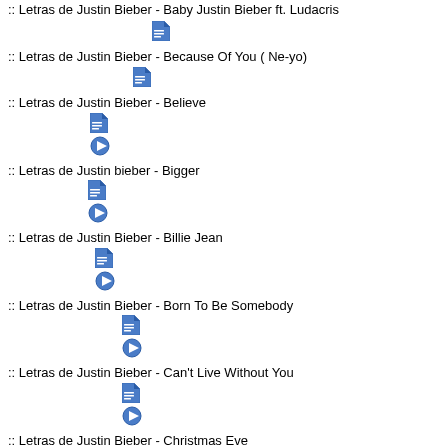:: Letras de Justin Bieber - Baby Justin Bieber ft. Ludacris
:: Letras de Justin Bieber - Because Of You ( Ne-yo)
:: Letras de Justin Bieber - Believe
:: Letras de Justin bieber - Bigger
:: Letras de Justin Bieber - Billie Jean
:: Letras de Justin Bieber - Born To Be Somebody
:: Letras de Justin Bieber - Can't Live Without You
:: Letras de Justin Bieber - Christmas Eve
:: Letras de Justin Bieber - Christmas Love